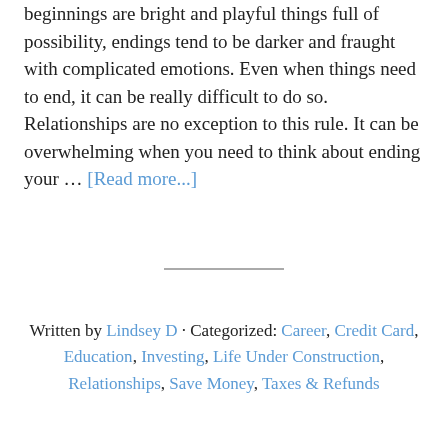beginnings are bright and playful things full of possibility, endings tend to be darker and fraught with complicated emotions. Even when things need to end, it can be really difficult to do so. Relationships are no exception to this rule. It can be overwhelming when you need to think about ending your … [Read more...]
Written by Lindsey D · Categorized: Career, Credit Card, Education, Investing, Life Under Construction, Relationships, Save Money, Taxes & Refunds